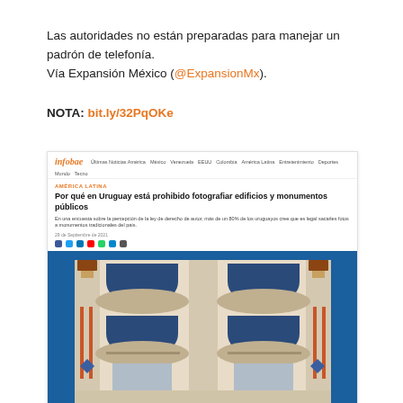Las autoridades no están preparadas para manejar un padrón de telefonía.
Vía Expansión México (@ExpansionMx).
NOTA: bit.ly/32PqOKe
[Figure (screenshot): Screenshot of an Infobae article titled 'Por qué en Uruguay está prohibido fotografiar edificios y monumentos públicos' showing the article headline, description, date, social share buttons and a photo of an Art Deco building facade against a blue sky.]